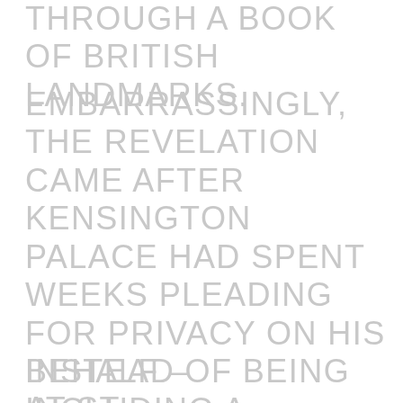THROUGH A BOOK OF BRITISH LANDMARKS.
EMBARRASSINGLY, THE REVELATION CAME AFTER KENSINGTON PALACE HAD SPENT WEEKS PLEADING FOR PRIVACY ON HIS BEHALF – INCLUDING A MESSAGE DEMANDING HE BE LEFT ALONE SENT HOURS BEFORE THE STORY WAS PUBLISHED.
INSTEAD OF BEING AT ST.